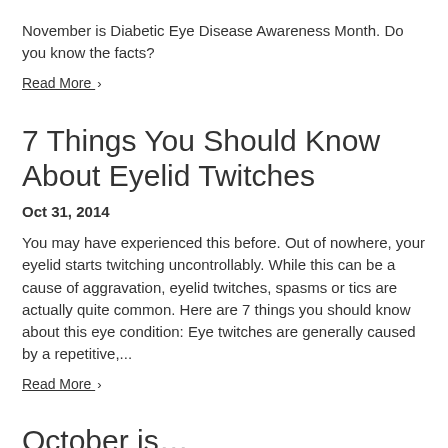November is Diabetic Eye Disease Awareness Month. Do you know the facts?
Read More ›
7 Things You Should Know About Eyelid Twitches
Oct 31, 2014
You may have experienced this before. Out of nowhere, your eyelid starts twitching uncontrollably. While this can be a cause of aggravation, eyelid twitches, spasms or tics are actually quite common. Here are 7 things you should know about this eye condition: Eye twitches are generally caused by a repetitive,...
Read More ›
October is…
Oct 23, 2014